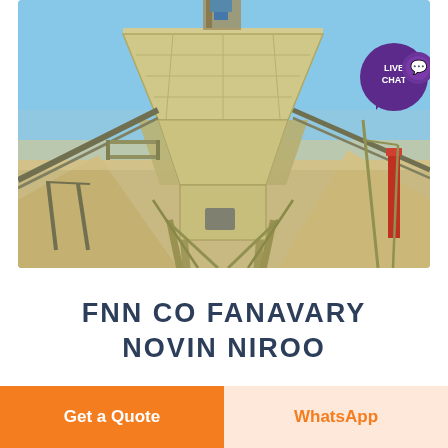[Figure (photo): Industrial mineral processing plant with a large yellow/beige hopper/bin structure supported by steel framework, conveyor belts, and aggregate piles in the background. Blue sky visible. A purple 'LIVE CHAT' speech bubble overlay is in the top right corner.]
FNN CO FANAVARY NOVIN NIROO
Get a Quote
WhatsApp